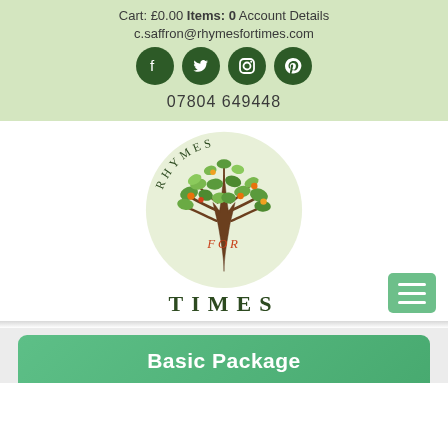Cart: £0.00 Items: 0 Account Details
c.saffron@rhymesfortimes.com
07804 649448
[Figure (logo): Rhymes For Times logo: circular green background with a decorative tree and the text RHYMES FOR TIMES]
Basic Package